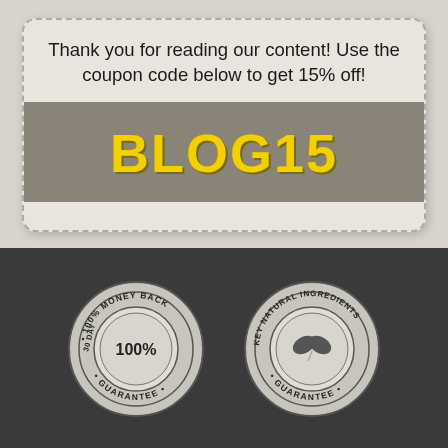Thank you for reading our content! Use the coupon code below to get 15% off!
BLOG15
[Figure (illustration): 30 DAY 100% MONEY BACK GUARANTEE badge - circular stamp design with '100%' in the center]
[Figure (illustration): KEY NATURAL INGREDIENTS GUARANTEE badge - circular stamp design with a leaf icon in the center]